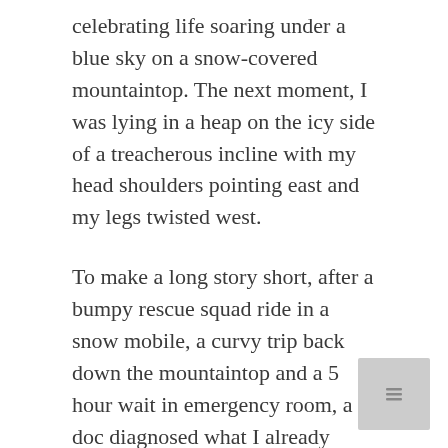celebrating life soaring under a blue sky on a snow-covered mountaintop. The next moment, I was lying in a heap on the icy side of a treacherous incline with my head shoulders pointing east and my legs twisted west.
To make a long story short, after a bumpy rescue squad ride in a snow mobile, a curvy trip back down the mountaintop and a 5 hour wait in emergency room, a doc diagnosed what I already knew, “Broken collar bone.”
“It explo ded,” he